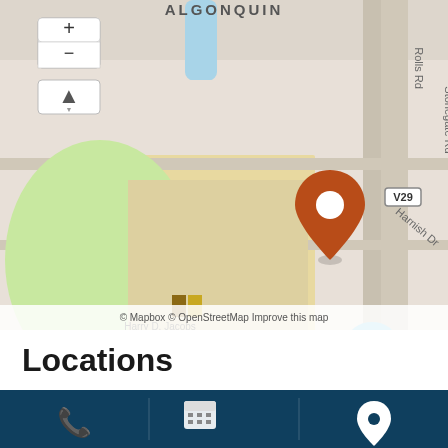[Figure (map): Street map centered near Harry D. Jacobs High School in Algonquin area, showing a location pin marker, road labels including Rolls Rd, Stonegate Rd, Harnish Dr, V29 route marker, zoom controls (+/-) and compass in top-left, and map attribution '© Mapbox © OpenStreetMap Improve this map' at bottom.]
Locations
[Figure (infographic): Dark blue footer bar with three icons: phone icon on left, calendar icon in center, map/location pin icon on right.]